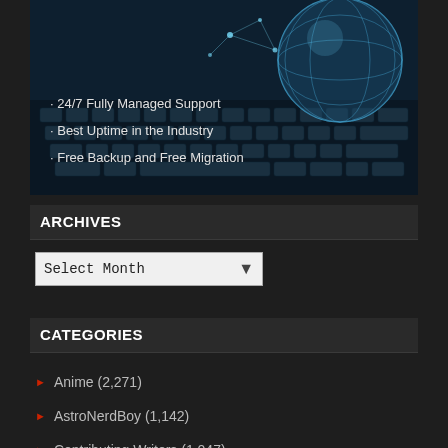[Figure (illustration): Dark-themed banner with a globe and keyboard background, listing web hosting features: 24/7 Fully Managed Support, Best Uptime in the Industry, Free Backup and Free Migration]
ARCHIVES
Select Month (dropdown)
CATEGORIES
Anime (2,271)
AstroNerdBoy (1,142)
Contributing Writers (1,047)
Japan (45)
Manga (1,935)